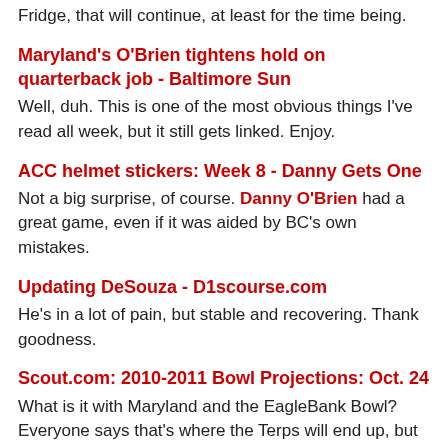Fridge, that will continue, at least for the time being.
Maryland's O'Brien tightens hold on quarterback job - Baltimore Sun
Well, duh. This is one of the most obvious things I've read all week, but it still gets linked. Enjoy.
ACC helmet stickers: Week 8 - Danny Gets One
Not a big surprise, of course. Danny O'Brien had a great game, even if it was aided by BC's own mistakes.
Updating DeSouza - D1scourse.com
He's in a lot of pain, but stable and recovering. Thank goodness.
Scout.com: 2010-2011 Bowl Projections: Oct. 24
What is it with Maryland and the EagleBank Bowl? Everyone says that's where the Terps will end up, but